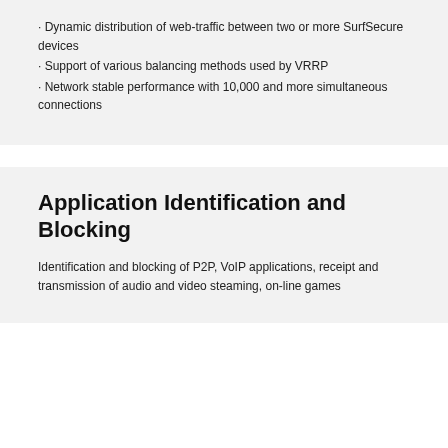· Dynamic distribution of web-traffic between two or more SurfSecure devices
· Support of various balancing methods used by VRRP
· Network stable performance with 10,000 and more simultaneous connections
Application Identification and Blocking
Identification and blocking of P2P, VoIP applications, receipt and transmission of audio and video steaming, on-line games